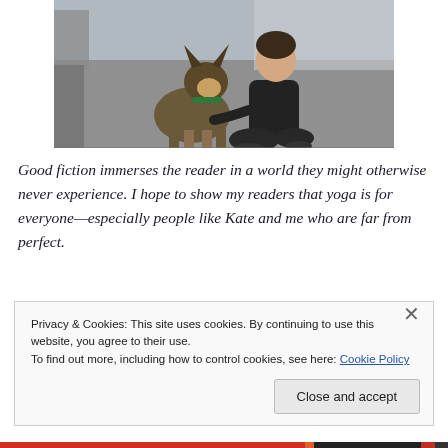[Figure (photo): Photo of a German Shepherd dog sitting outdoors on pavement next to a woman crouching beside it, wearing dark clothing]
Good fiction immerses the reader in a world they might otherwise never experience. I hope to show my readers that yoga is for everyone—especially people like Kate and me who are far from perfect.
Privacy & Cookies: This site uses cookies. By continuing to use this website, you agree to their use.
To find out more, including how to control cookies, see here: Cookie Policy
Close and accept